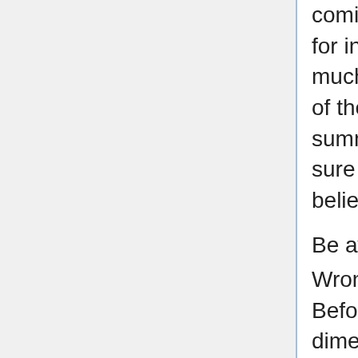coming from sunlight. Warm climate is incredibly hard for infants and if it possesses damp at that point it is much more irritable for the. The sweating makes all of them annoying, so it's far better to buy an ideal summer season material gown for them. To make sure that they may inhale correctly as well as can believe very comfortable, Click here.
Be aware of your youngster's proper dimension
Wrong size of gown can produce your kid annoying. Before shopping for them be conscious of the proper dimension. The various other problem that emerges with dimension is that youngsters increase along with fast lane and in really two moths they require a brand new size of clothing. Do always purchase...